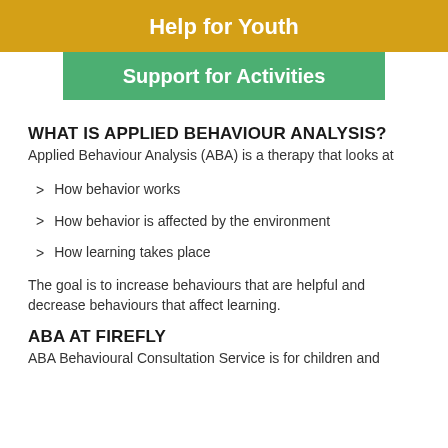Help for Youth
Support for Activities
WHAT IS APPLIED BEHAVIOUR ANALYSIS?
Applied Behaviour Analysis (ABA) is a therapy that looks at
How behavior works
How behavior is affected by the environment
How learning takes place
The goal is to increase behaviours that are helpful and decrease behaviours that affect learning.
ABA AT FIREFLY
ABA Behavioural Consultation Service is for children and